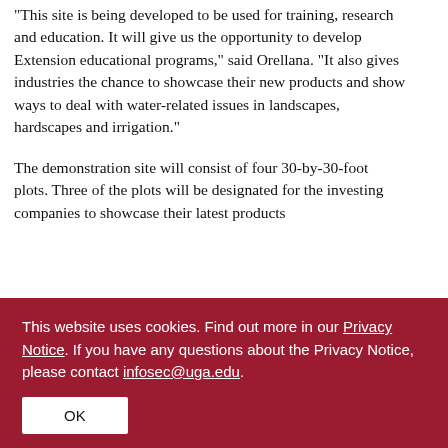“This site is being developed to be used for training, research and education. It will give us the opportunity to develop Extension educational programs,” said Orellana. “It also gives industries the chance to showcase their new products and show ways to deal with water-related issues in landscapes, hardscapes and irrigation.”
The demonstration site will consist of four 30-by-30-foot plots. Three of the plots will be designated for the investing companies to showcase their latest products
This website uses cookies. Find out more in our Privacy Notice. If you have any questions about the Privacy Notice, please contact infosec@uga.edu.